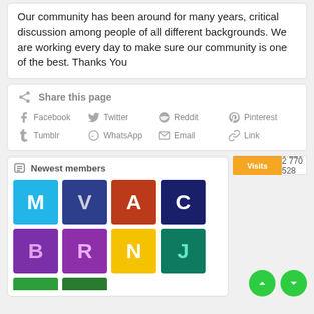Our community has been around for many years, critical discussion among people of all different backgrounds. We are working every day to make sure our community is one of the best. Thanks You
Share this page
Facebook  Twitter  Reddit  Pinterest  Tumblr  WhatsApp  Email  Link
Newest members
[Figure (infographic): Avatar grid with letters M, V, A, C (row 1) and B, R, N, J (row 2) in colored square tiles]
Visits  2 770 528